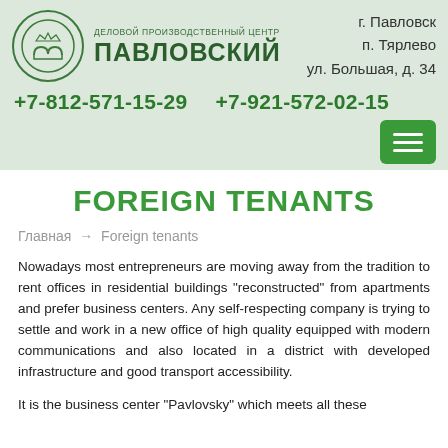ДЕЛОВОЙ ПРОИЗВОДСТВЕННЫЙ ЦЕНТР ПАВЛОВСКИЙ | г. Павловск п. Тярлево ул. Большая, д. 34 | +7-812-571-15-29 +7-921-572-02-15
FOREIGN TENANTS
Главная → Foreign tenants
Nowadays most entrepreneurs are moving away from the tradition to rent offices in residential buildings "reconstructed" from apartments and prefer business centers. Any self-respecting company is trying to settle and work in a new office of high quality equipped with modern communications and also located in a district with developed infrastructure and good transport accessibility.
It is the business center "Pavlovsky" which meets all these